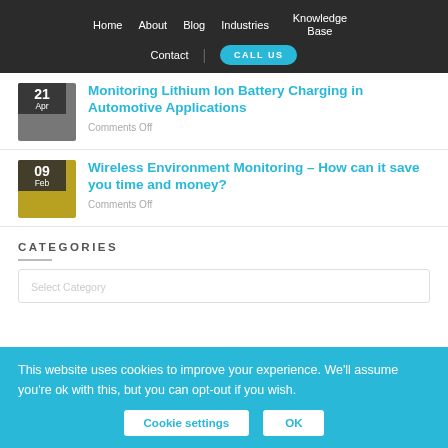Home  About  Blog  Industries  Knowledge Base  Contact  CALL US
Monitoring Lithium Ion Battery Charging in Automotive Applications
Comments Off
Wireless Environment Monitoring – How can it save you time and money?
Comments Off
CATEGORIES
This website uses cookies to improve your experience. We'll assume you're ok with this, but you can opt-out if you wish.
Cookie settings  OK